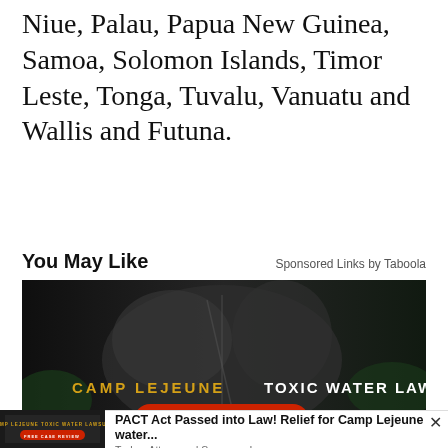Niue, Palau, Papua New Guinea, Samoa, Solomon Islands, Timor Leste, Tonga, Tuvalu, Vanuatu and Wallis and Futuna.
You May Like
Sponsored Links by Taboola
[Figure (photo): Dark advertisement image showing military boots with text 'CAMP LEJEUNE TOXIC WATER LAWSUIT' in yellow/white letters and a red button reading 'FREE CASE REVIEW' with a hand cursor icon]
[Figure (photo): Small thumbnail of the Camp Lejeune Toxic Water Lawsuit advertisement with FREE CASE REVIEW button]
PACT Act Passed into Law! Relief for Camp Lejeune water...
Trulaw Attorneys | Sponsored